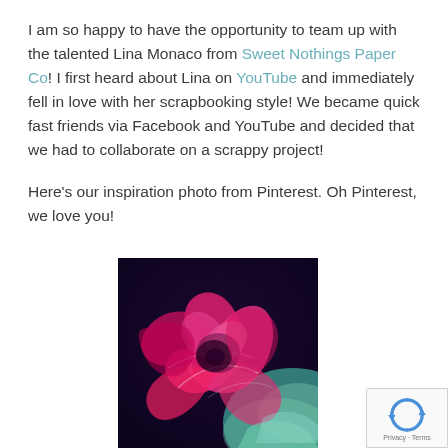I am so happy to have the opportunity to team up with the talented Lina Monaco from Sweet Nothings Paper Co! I first heard about Lina on YouTube and immediately fell in love with her scrapbooking style! We became quick fast friends via Facebook and YouTube and decided that we had to collaborate on a scrappy project!

Here's our inspiration photo from Pinterest. Oh Pinterest, we love you!
[Figure (photo): Abstract close-up photo with vivid pink/magenta and teal swirling colors, resembling a flower or fluid art, used as inspiration from Pinterest.]